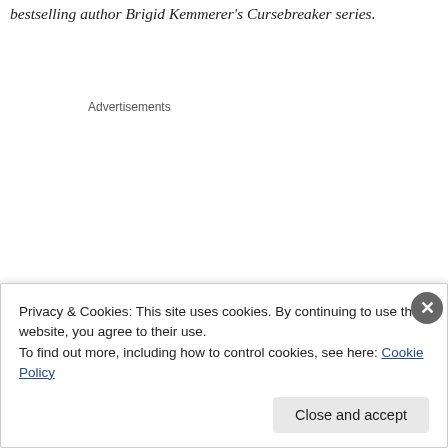bestselling author Brigid Kemmerer's Cursebreaker series.
Advertisements
Privacy & Cookies: This site uses cookies. By continuing to use this website, you agree to their use.
To find out more, including how to control cookies, see here: Cookie Policy
Close and accept